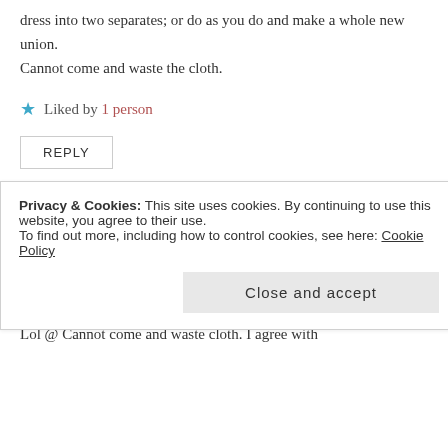dress into two separates; or do as you do and make a whole new union.
Cannot come and waste the cloth.
Liked by 1 person
REPLY
Nedoux
June 29, 2016 at 21:28
Hi Doc Sandy,
Lol @ Cannot come and waste cloth. I agree with
Privacy & Cookies: This site uses cookies. By continuing to use this website, you agree to their use.
To find out more, including how to control cookies, see here: Cookie Policy
Close and accept